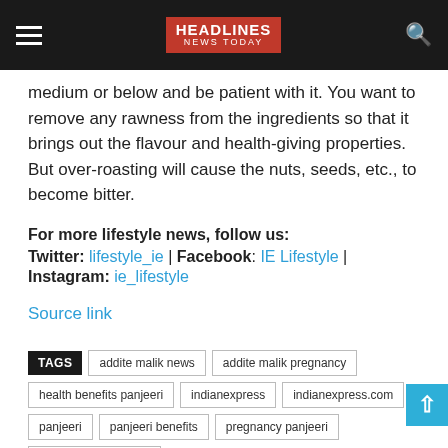HEADLINES NEWS TODAY
medium or below and be patient with it. You want to remove any rawness from the ingredients so that it brings out the flavour and health-giving properties. But over-roasting will cause the nuts, seeds, etc., to become bitter.
For more lifestyle news, follow us: Twitter: lifestyle_ie | Facebook: IE Lifestyle | Instagram: ie_lifestyle
Source link
TAGS  addite malik news  addite malik pregnancy  health benefits panjeeri  indianexpress  indianexpress.com  panjeeri  panjeeri benefits  pregnancy panjeeri  tips to make panjeeri